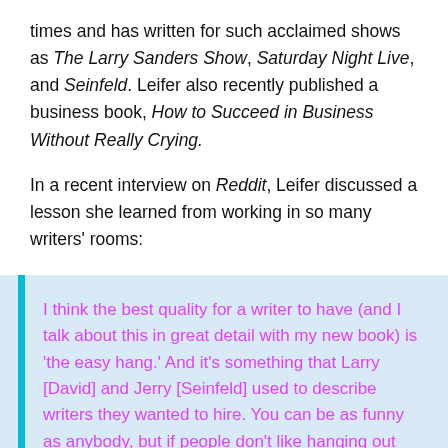times and has written for such acclaimed shows as The Larry Sanders Show, Saturday Night Live, and Seinfeld. Leifer also recently published a business book, How to Succeed in Business Without Really Crying.
In a recent interview on Reddit, Leifer discussed a lesson she learned from working in so many writers' rooms:
I think the best quality for a writer to have (and I talk about this in great detail with my new book) is 'the easy hang.' And it's something that Larry [David] and Jerry [Seinfeld] used to describe writers they wanted to hire. You can be as funny as anybody, but if people don't like hanging out